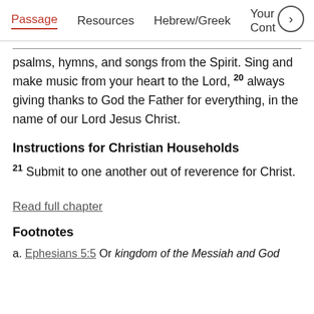Passage  Resources  Hebrew/Greek  Your Cont
psalms, hymns, and songs from the Spirit. Sing and make music from your heart to the Lord, 20 always giving thanks to God the Father for everything, in the name of our Lord Jesus Christ.
Instructions for Christian Households
21 Submit to one another out of reverence for Christ.
Read full chapter
Footnotes
a. Ephesians 5:5 Or kingdom of the Messiah and God